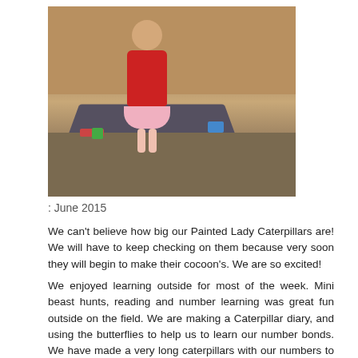[Figure (photo): A young girl wearing a red cardigan and pink dress/skirt standing in a classroom or playroom with toys and colorful items on the floor and wooden log-style walls in the background.]
: June 2015
We can't believe how big our Painted Lady Caterpillars are! We will have to keep checking on them because very soon they will begin to make their cocoon's. We are so excited!
We enjoyed learning outside for most of the week. Mini beast hunts, reading and number learning was great fun outside on the field. We are making a Caterpillar diary, and using the butterflies to help us to learn our number bonds. We have made a very long caterpillars with our numbers to 20!
We have enjoyed reading lots of books on caterpillars and talking about mini beasts and how we can tell if they are